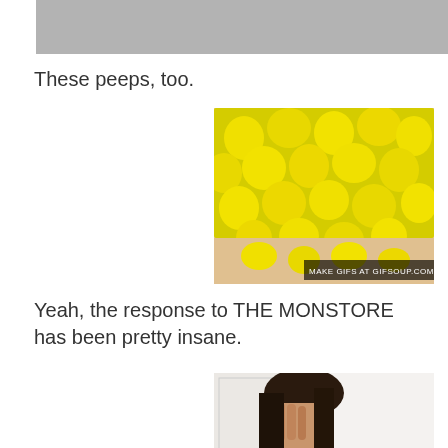[Figure (photo): Gray image at top of page, partial view of previous content]
These peeps, too.
[Figure (photo): Photo of many yellow Peeps marshmallow candies arranged on a surface, with watermark text MAKE GIFS AT GIFSOUP.COM]
Yeah, the response to THE MONSTORE has been pretty insane.
[Figure (photo): Photo of a woman covering her face with her hand, partial view cut at bottom]